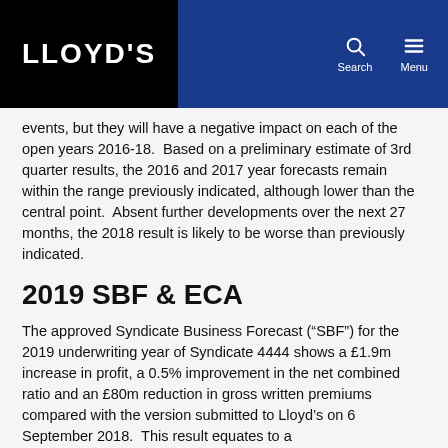LLOYD'S
events, but they will have a negative impact on each of the open years 2016-18.  Based on a preliminary estimate of 3rd quarter results, the 2016 and 2017 year forecasts remain within the range previously indicated, although lower than the central point.  Absent further developments over the next 27 months, the 2018 result is likely to be worse than previously indicated.
2019 SBF & ECA
The approved Syndicate Business Forecast (“SBF”) for the 2019 underwriting year of Syndicate 4444 shows a £1.9m increase in profit, a 0.5% improvement in the net combined ratio and an £80m reduction in gross written premiums compared with the version submitted to Lloyd’s on 6 September 2018.  This result equates to a